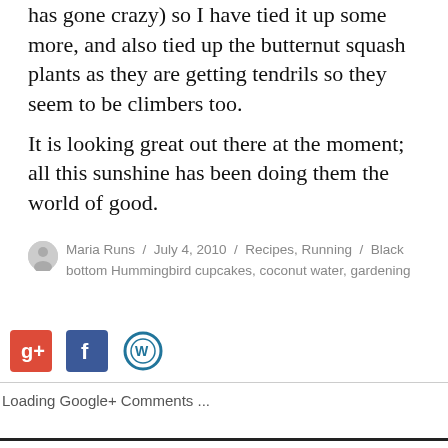has gone crazy) so I have tied it up some more, and also tied up the butternut squash plants as they are getting tendrils so they seem to be climbers too.
It is looking great out there at the moment; all this sunshine has been doing them the world of good.
Maria Runs / July 4, 2010 / Recipes, Running / Black bottom Hummingbird cupcakes, coconut water, gardening
Loading Google+ Comments ...